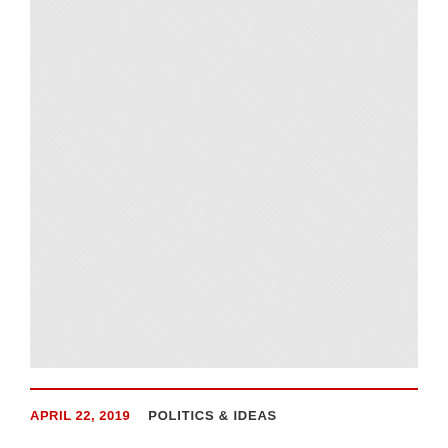[Figure (photo): Large light gray textured image area occupying the upper portion of the page]
APRIL 22, 2019    POLITICS & IDEAS